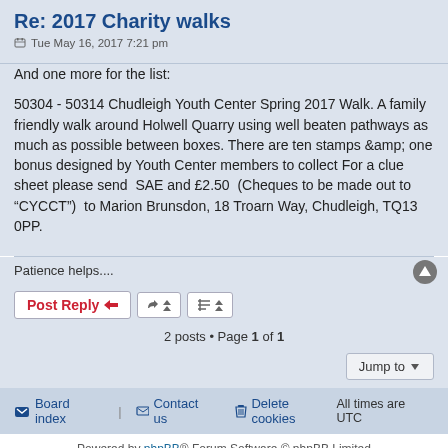Re: 2017 Charity walks
Tue May 16, 2017 7:21 pm
And one more for the list:
50304 - 50314 Chudleigh Youth Center Spring 2017 Walk. A family friendly walk around Holwell Quarry using well beaten pathways as much as possible between boxes. There are ten stamps &amp; one bonus designed by Youth Center members to collect For a clue sheet please send  SAE and £2.50  (Cheques to be made out to “CYCCT”)  to Marion Brunsdon, 18 Troarn Way, Chudleigh, TQ13 0PP.
Patience helps....
2 posts • Page 1 of 1
Board index   Contact us   Delete cookies   All times are UTC
Powered by phpBB® Forum Software © phpBB Limited
Privacy | Terms